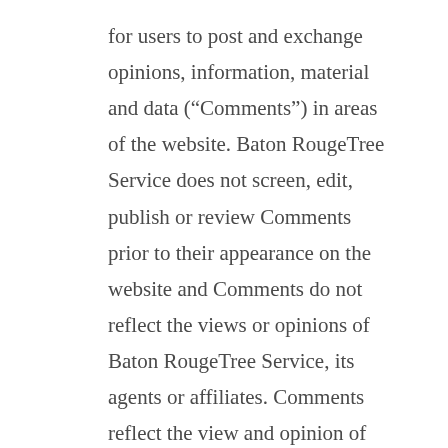for users to post and exchange opinions, information, material and data (“Comments”) in areas of the website. Baton RougeTree Service does not screen, edit, publish or review Comments prior to their appearance on the website and Comments do not reflect the views or opinions of Baton RougeTree Service, its agents or affiliates. Comments reflect the view and opinion of the person who posts such view or opinion. To the extent permitted by applicable laws Baton RougeTree Service shall not be responsible or liable for the Comments or for any loss cost, liability, damages or expenses caused and or suffered as a result of any use of and/or posting of and/or appearance of the Comments on this website. 3. Baton RougeTree Service reserves the right to monitor all Comments and to remove any Comments which it considers in its absolute discretion to be